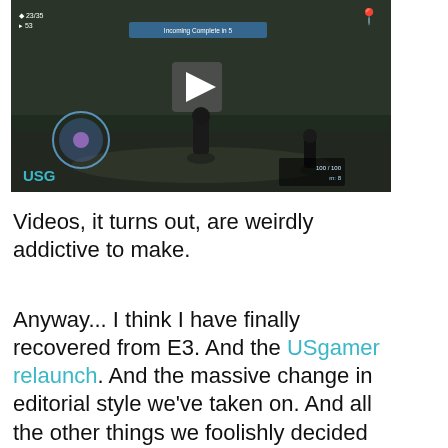[Figure (screenshot): A video screenshot from a game (appears to be a third-person action/RPG) with USG watermark and a play button overlay. HUD elements visible including health bars, a blue shield ability icon, a banner reading 'Incoming [text] Complete in 5', and a minimap indicator. Characters visible in a outdoor environment.]
Videos, it turns out, are weirdly addictive to make.
Anyway... I think I have finally recovered from E3. And the USgamer relaunch. And the massive change in editorial style we've taken on. And all the other things we foolishly decided to do concurrently with E3. A decade after